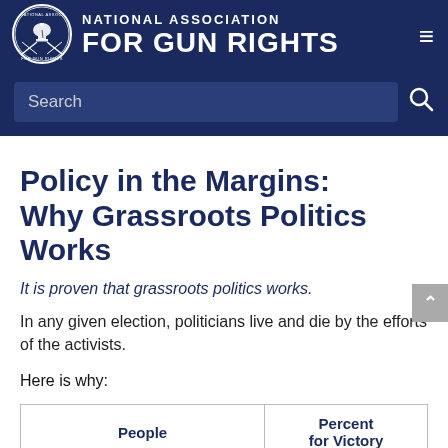[Figure (logo): National Association for Gun Rights logo with Liberty Bell and crossed rifles in circular seal]
NATIONAL ASSOCIATION FOR GUN RIGHTS
Policy in the Margins: Why Grassroots Politics Works
It is proven that grassroots politics works.
In any given election, politicians live and die by the efforts of the activists.
Here is why:
| People | Percent for Victory |
| --- | --- |